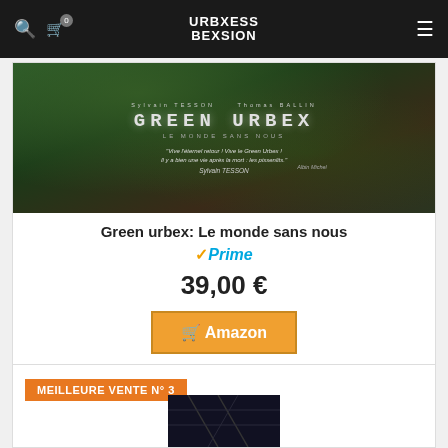URBEXESSION BEXSION
[Figure (photo): Book cover of 'Green Urbex: Le monde sans nous' showing an abandoned greenhouse overgrown with vegetation]
Green urbex: Le monde sans nous
[Figure (logo): Amazon Prime logo with checkmark]
39,00 €
Amazon
MEILLEURE VENTE N° 3
[Figure (photo): Partial view of a second book cover, dark interior space]